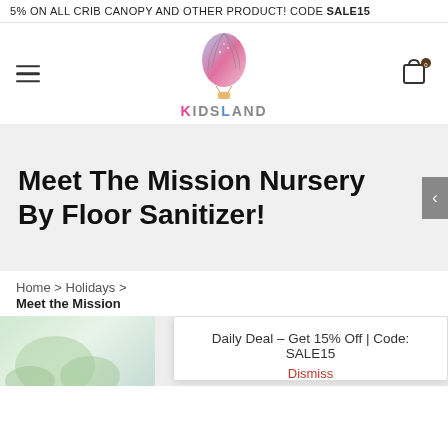5% ON ALL CRIB CANOPY AND OTHER PRODUCT! CODE SALE15
[Figure (logo): KidsLand logo with hot air balloon illustration and brand name KIDSLAND]
Meet The Mission Nursery By Floor Sanitizer!
Home > Holidays >
Meet the Mission
Daily Deal – Get 15% Off | Code: SALE15
Dismiss
[Figure (photo): Bottom partial image of nursery or plant]